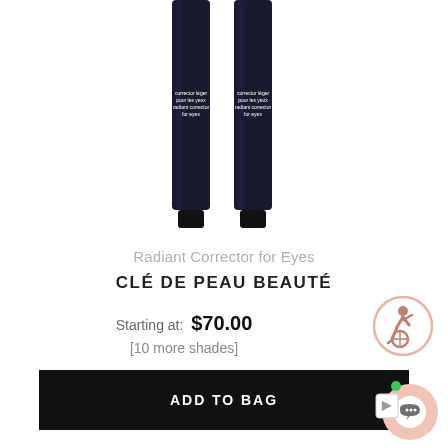[Figure (photo): Two dark navy/black cylindrical eye corrector product tubes side by side, partially cropped at top]
Radiant Corrector for Eyes
CLÉ DE PEAU BEAUTÉ
Starting at: $70.00
[10 more shades]
ADD TO BAG
[Figure (illustration): Accessibility icon - person in wheelchair, circle outlined in salmon/pink color]
[Figure (illustration): Chat widget icon with speech bubble and green notification dot, pink circle background]